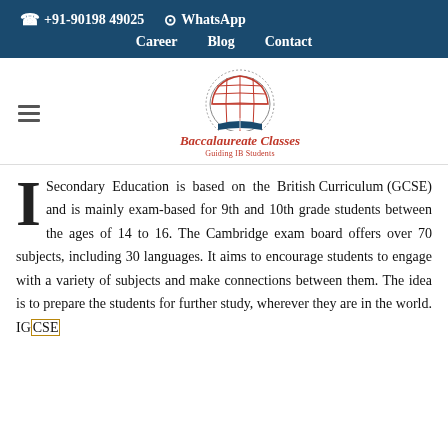☎ +91-90198 49025  ⊙ WhatsApp  Career  Blog  Contact
[Figure (logo): Baccalaureate Classes logo with globe and text 'Baccalaureate Classes - Guiding IB Students']
Secondary Education is based on the British Curriculum (GCSE) and is mainly exam-based for 9th and 10th grade students between the ages of 14 to 16. The Cambridge exam board offers over 70 subjects, including 30 languages. It aims to encourage students to engage with a variety of subjects and make connections between them. The idea is to prepare the students for further study, wherever they are in the world. IGCSE